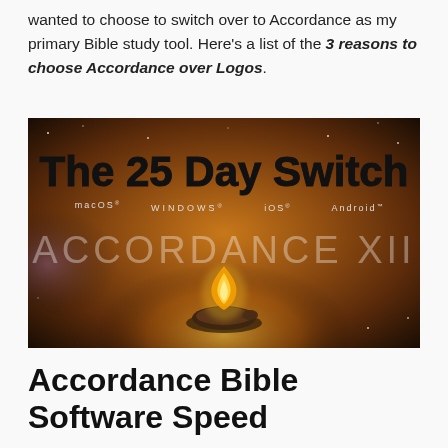wanted to choose to switch over to Accordance as my primary Bible study tool. Here's a list of the 3 reasons to choose Accordance over Logos.
[Figure (illustration): Promotional banner image for 'The 25 Day Switch' featuring Accordance XII Bible software. Dark cosmic/nebula background with bold black text reading 'The 25 Day Switch', platform labels macOS, WINDOWS, iOS, Android, large translucent text 'ACCORDANCE XII', and a glowing oil lamp icon at center bottom.]
Accordance Bible Software Speed